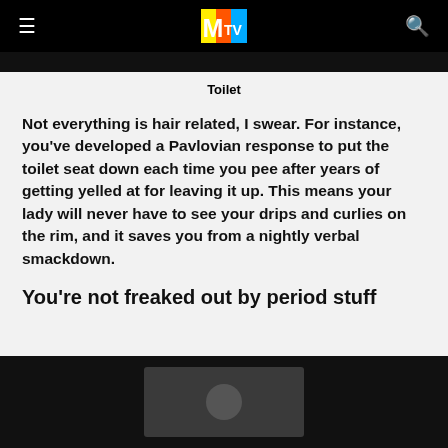MTV
[Figure (photo): Top dark image bar, partially visible]
Toilet
Not everything is hair related, I swear. For instance, you've developed a Pavlovian response to put the toilet seat down each time you pee after years of getting yelled at for leaving it up. This means your lady will never have to see your drips and curlies on the rim, and it saves you from a nightly verbal smackdown.
You're not freaked out by period stuff
[Figure (photo): Dark image at bottom of page, partially visible with a grey rectangle shape inside]